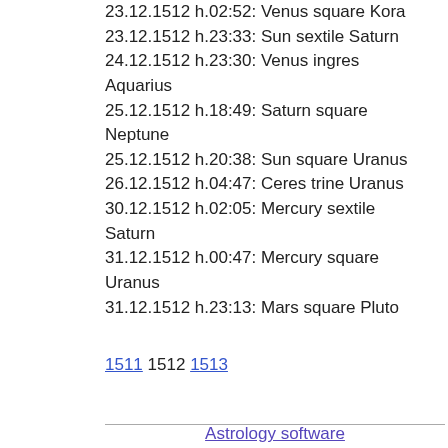23.12.1512 h.02:52: Venus square Kora
23.12.1512 h.23:33: Sun sextile Saturn
24.12.1512 h.23:30: Venus ingres Aquarius
25.12.1512 h.18:49: Saturn square Neptune
25.12.1512 h.20:38: Sun square Uranus
26.12.1512 h.04:47: Ceres trine Uranus
30.12.1512 h.02:05: Mercury sextile Saturn
31.12.1512 h.00:47: Mercury square Uranus
31.12.1512 h.23:13: Mars square Pluto
1511 1512 1513
Astrology software